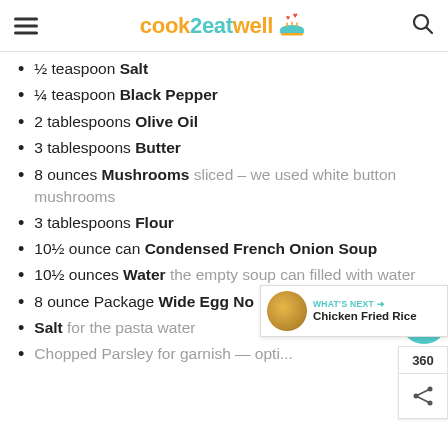cook2eatwell
½ teaspoon Salt
¼ teaspoon Black Pepper
2 tablespoons Olive Oil
3 tablespoons Butter
8 ounces Mushrooms sliced – we used white button mushrooms
3 tablespoons Flour
10½ ounce can Condensed French Onion Soup
10½ ounces Water the empty soup can filled with water
8 ounce Package Wide Egg No...
Salt for the pasta water
Chopped Parsley for garnish — optional